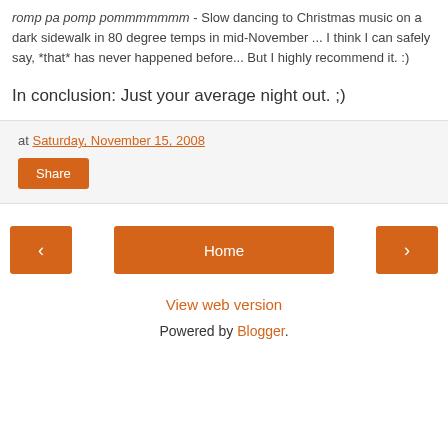romp pa pomp pommmmmmm - Slow dancing to Christmas music on a dark sidewalk in 80 degree temps in mid-November ... I think I can safely say, *that* has never happened before... But I highly recommend it. :)
In conclusion: Just your average night out. ;)
at Saturday, November 15, 2008
Share
Home
View web version
Powered by Blogger.